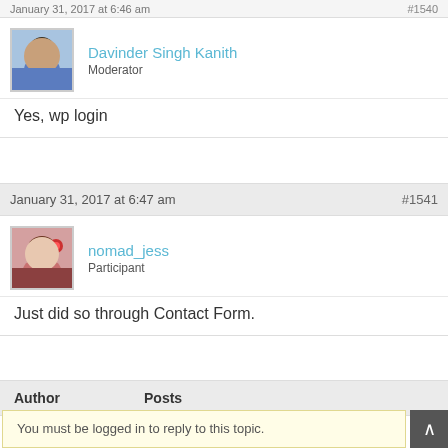January 31, 2017 at 6:46 am  #1540
[Figure (photo): Avatar photo of Davinder Singh Kanith, a man with beard in blue jacket]
Davinder Singh Kanith
Moderator
Yes, wp login
January 31, 2017 at 6:47 am  #1541
[Figure (photo): Avatar photo of nomad_jess, a woman smiling with red flower in hair]
nomad_jess
Participant
Just did so through Contact Form.
| Author | Posts |
| --- | --- |
Viewing 7 posts - 1 through 7 (of 7 total)
You must be logged in to reply to this topic.